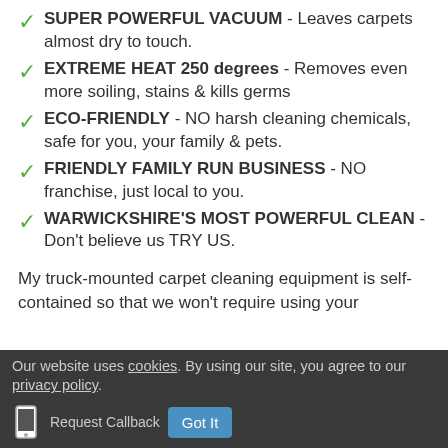SUPER POWERFUL VACUUM - Leaves carpets almost dry to touch.
EXTREME HEAT 250 degrees - Removes even more soiling, stains & kills germs
ECO-FRIENDLY - NO harsh cleaning chemicals, safe for you, your family & pets.
FRIENDLY FAMILY RUN BUSINESS - NO franchise, just local to you.
WARWICKSHIRE'S MOST POWERFUL CLEAN - Don't believe us TRY US.
My truck-mounted carpet cleaning equipment is self-contained so that we won't require using your
Our website uses cookies. By using our site, you agree to our privacy policy.